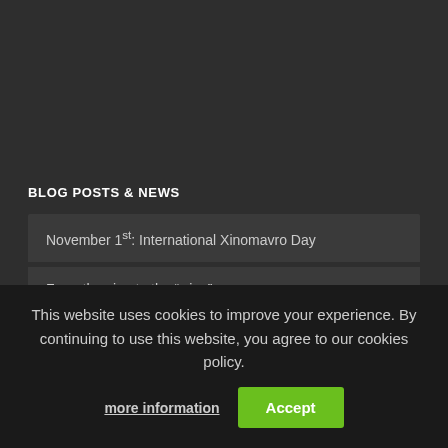BLOG POSTS & NEWS
November 1st: International Xinomavro Day
From the vine to the “wine”
Healthy lifestyle
All 4 seasons on mountains in Naoussa
This website uses cookies to improve your experience. By continuing to use this website, you agree to our cookies policy.
more information
Accept